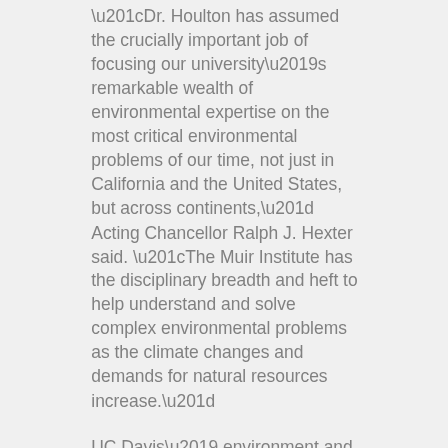“Dr. Houlton has assumed the crucially important job of focusing our university’s remarkable wealth of environmental expertise on the most critical environmental problems of our time, not just in California and the United States, but across continents,” Acting Chancellor Ralph J. Hexter said. “The Muir Institute has the disciplinary breadth and heft to help understand and solve complex environmental problems as the climate changes and demands for natural resources increase.”
UC Davis’ environment and ecology programs were recently ranked third in the world by U.S. News & World Report.
A vision targeting global threats...